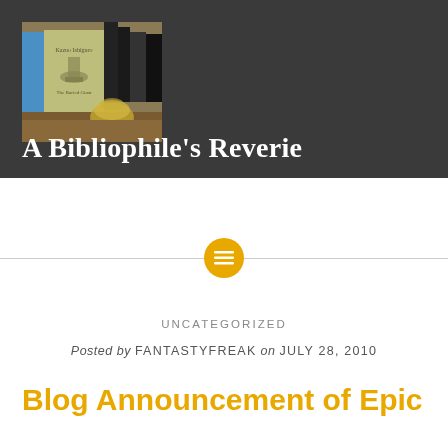[Figure (photo): Photo of books on a shelf with a decorative goblet/chalice in front, used as the blog header image]
A Bibliophile's Reverie
[Figure (infographic): Horizontal divider with a golden/yellow circle containing a menu/list icon in the center]
UNCATEGORIZED
Posted by FANTASTYFREAK on JULY 28, 2010
Blog Announcement of Epic